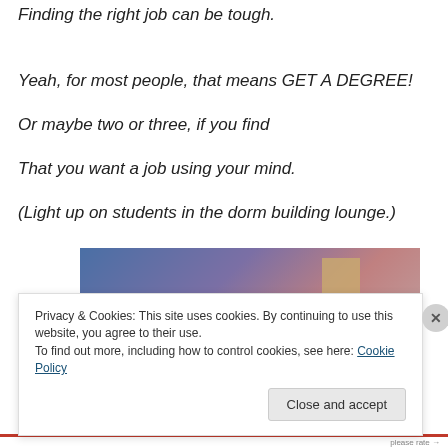Finding the right job can be tough.
Yeah, for most people, that means GET A DEGREE!
Or maybe two or three, if you find
That you want a job using your mind.
(Light up on students in the dorm building lounge.)
[Figure (photo): Partial view of students in a dorm building lounge, gradient blue-purple background with a tan/brown object visible]
Privacy & Cookies: This site uses cookies. By continuing to use this website, you agree to their use.
To find out more, including how to control cookies, see here: Cookie Policy
Close and accept